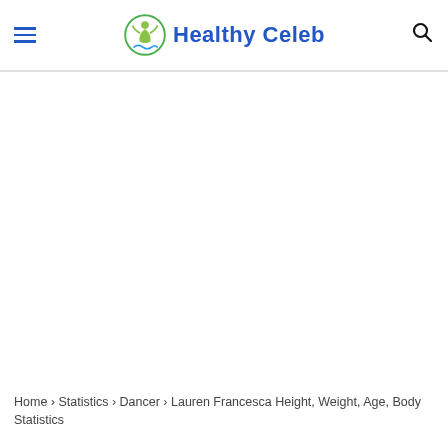Healthy Celeb
Home › Statistics › Dancer › Lauren Francesca Height, Weight, Age, Body Statistics